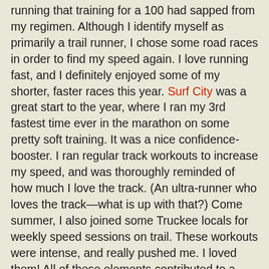running that training for a 100 had sapped from my regimen. Although I identify myself as primarily a trail runner, I chose some road races in order to find my speed again. I love running fast, and I definitely enjoyed some of my shorter, faster races this year. Surf City was a great start to the year, where I ran my 3rd fastest time ever in the marathon on some pretty soft training. It was a nice confidence-booster. I ran regular track workouts to increase my speed, and was thoroughly reminded of how much I love the track. (An ultra-runner who loves the track—what is up with that?) Come summer, I also joined some Truckee locals for weekly speed sessions on trail. These workouts were intense, and really pushed me. I loved them! All of these elements contributed to a speedier season at all distances for me.
As far as fun races go, it's hard to say they weren't all fun, but a few stand out for me. TRT 50M gets top honors for both fun and performance for me. Isn't it nice when things work out that way? It was just a beautiful day, I paced things perfectly, and I enjoyed every minute of it. The Emerald Bay Trail Run was another standout. Short, fast and incredibly scenic: perfection in a one-hour run. Lastly, and somewhat